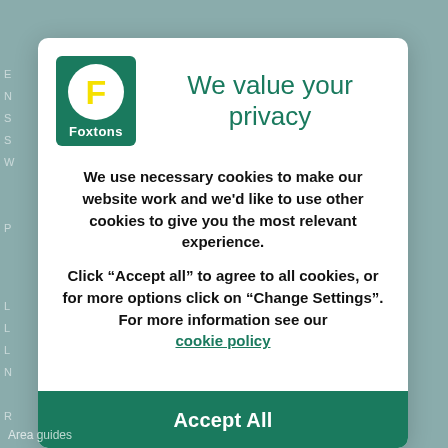[Figure (logo): Foxtons real estate logo: dark green rectangle with white circle containing yellow F letter, and 'Foxtons' text in white below]
We value your privacy
We use necessary cookies to make our website work and we'd like to use other cookies to give you the most relevant experience.
Click “Accept all” to agree to all cookies, or for more options click on “Change Settings”. For more information see our cookie policy
Accept All